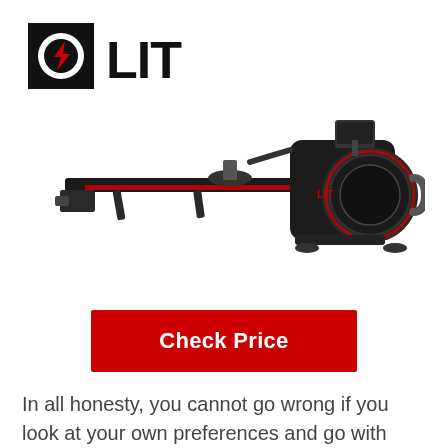[Figure (logo): LIT fitness brand logo — black square with a circle containing a red lightning bolt, followed by bold black text LIT]
[Figure (photo): LIT rowing machine — a black and red water rowing machine shown in profile, with a sliding seat rail, water resistance tank at the right end, and a small screen mount at the top]
Check Price
In all honesty, you cannot go wrong if you look at your own preferences and go with your gut